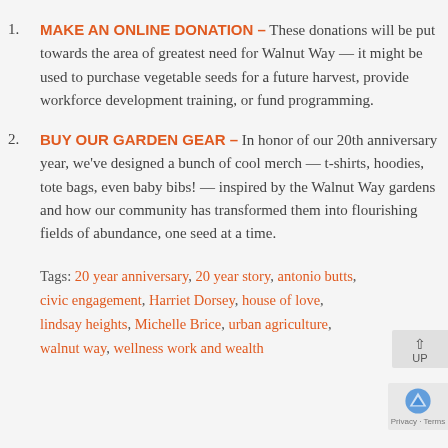MAKE AN ONLINE DONATION – These donations will be put towards the area of greatest need for Walnut Way — it might be used to purchase vegetable seeds for a future harvest, provide workforce development training, or fund programming.
BUY OUR GARDEN GEAR – In honor of our 20th anniversary year, we've designed a bunch of cool merch — t-shirts, hoodies, tote bags, even baby bibs! — inspired by the Walnut Way gardens and how our community has transformed them into flourishing fields of abundance, one seed at a time.
Tags: 20 year anniversary, 20 year story, antonio butts, civic engagement, Harriet Dorsey, house of love, lindsay heights, Michelle Brice, urban agriculture, walnut way, wellness work and wealth